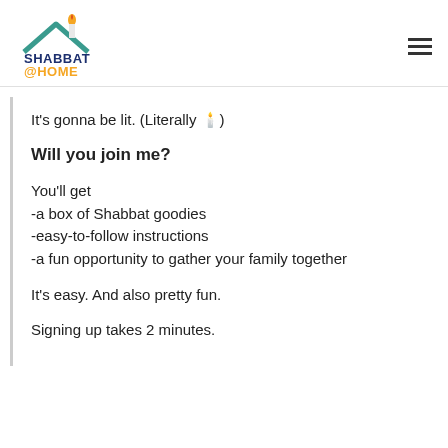[Figure (logo): Shabbat@Home logo with house roofline and candle graphic]
It’s gonna be lit. (Literally 🕯️)
Will you join me?
You’ll get
-a box of Shabbat goodies
-easy-to-follow instructions
-a fun opportunity to gather your family together
It’s easy. And also pretty fun.
Signing up takes 2 minutes.